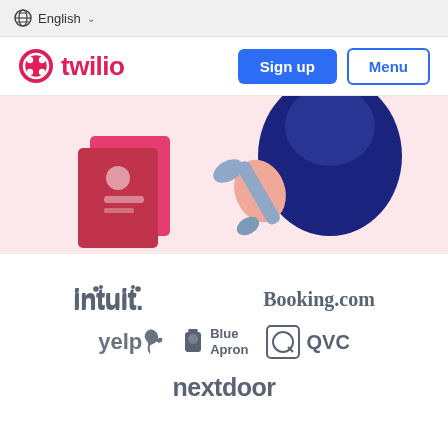English
[Figure (logo): Twilio logo with red circular icon and red 'twilio' text, Sign up button (blue), Menu button (outlined blue)]
[Figure (illustration): Hero illustration on pink/light red background showing a person in dark blue clothing holding a wrench, with a red ID card/document icon on the left side]
[Figure (logo): Partner/customer logos: Intuit, Booking.com, yelp, Blue Apron, QVC, nextdoor]